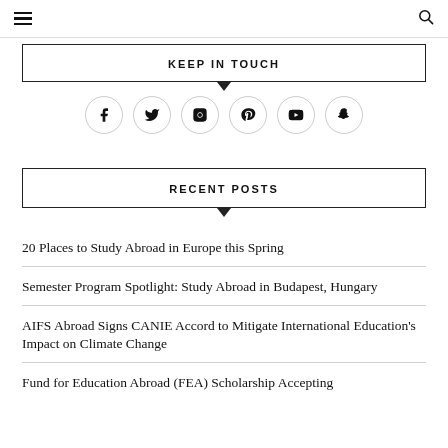≡  🔍
KEEP IN TOUCH
[Figure (infographic): Social media icons in circles: Facebook, Twitter, Instagram, Pinterest, YouTube, Snapchat]
RECENT POSTS
20 Places to Study Abroad in Europe this Spring
Semester Program Spotlight: Study Abroad in Budapest, Hungary
AIFS Abroad Signs CANIE Accord to Mitigate International Education's Impact on Climate Change
Fund for Education Abroad (FEA) Scholarship Accepting